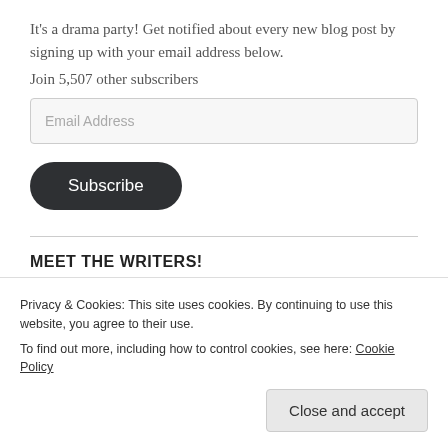It's a drama party! Get notified about every new blog post by signing up with your email address below. Join 5,507 other subscribers
Email Address
Subscribe
MEET THE WRITERS!
Amazon Disclosure
Privacy & Cookies: This site uses cookies. By continuing to use this website, you agree to their use. To find out more, including how to control cookies, see here: Cookie Policy
Close and accept